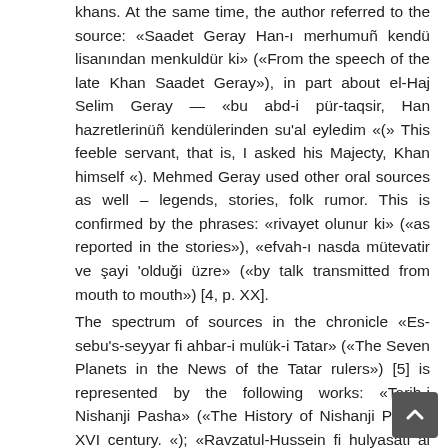khans. At the same time, the author referred to the source: «Saadet Geray Han-ı merhumuñ kendü lisanından menkuldür ki» («From the speech of the late Khan Saadet Geray»), in part about el-Haj Selim Geray — «bu abd-i pür-taqsir, Han hazretlerinüñ kendülerinden su'al eyledim «(» This feeble servant, that is, I asked his Majecty, Khan himself «). Mehmed Geray used other oral sources as well – legends, stories, folk rumor. This is confirmed by the phrases: «rivayet olunur ki» («as reported in the stories»), «efvah-ı nasda mütevatir ve şayi 'olduği üzre» («by talk transmitted from mouth to mouth») [4, p. XX].
The spectrum of sources in the chronicle «Es-sebu's-seyyar fi ahbar-i mulük-i Tatar» («The Seven Planets in the News of the Tatar rulers») [5] is represented by the following works: «Tarih-i Nishanji Pasha» («The History of Nishanji Pasha, XVI century. «); «Ravzatul-Hussein fi hulyasati al ahbar al-hafikayn» («The Garden of Hussein in a brief account of news about the west and east») of the Ottoman chronicler Naima Chelebi (XVII century); Chron of the Muverrikh Khayri-zade; a brief chronicle of the «A